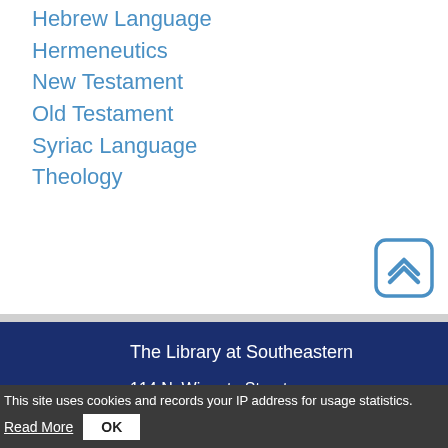Hebrew Language
Hermeneutics
New Testament
Old Testament
Syriac Language
Theology
The Library at Southeastern
114 N. Wingate Street
Wake Forest, NC 27587
This site uses cookies and records your IP address for usage statistics.
Read More  OK